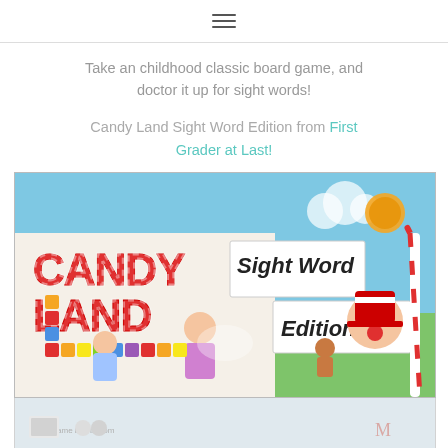☰
Take an childhood classic board game, and doctor it up for sight words!
Candy Land Sight Word Edition from First Grader at Last!
[Figure (photo): Photo of Candy Land Sight Word Edition board game box, showing the colorful Candy Land game cover with cartoon characters, a candy-themed path game board, and hand-cut paper labels reading 'Sight Word Edition!' overlaid on the box.]